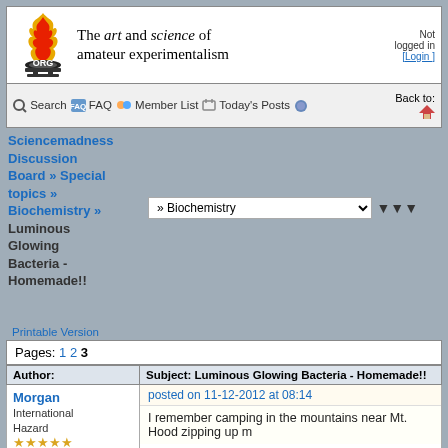[Figure (logo): Sciencemadness.org logo with flame and ORG text]
The art and science of amateur experimentalism
Not logged in [Login]
Search FAQ Member List Today's Posts Stats Back to:
Sciencemadness Discussion Board » Special topics » Biochemistry » Luminous Glowing Bacteria - Homemade!!
» Biochemistry
Printable Version
Pages: 1 2 3
| Author: | Subject: Luminous Glowing Bacteria - Homemade!! |
| --- | --- |
| Morgan
International Hazard
★★★★★ | posted on 11-12-2012 at 08:14

I remember camping in the mountains near Mt. Hood zipping up m |